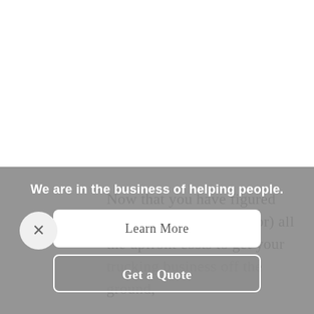Now that you have figured out (and possibly paid for) all the upfront costs to get your trucking business off the ground, it's time to start accounting all the little
[Figure (other): Gray overlay popup with close (X) button, tagline 'We are in the business of helping people.', a white 'Learn More' button, and a gray 'Get a Quote' button with white border.]